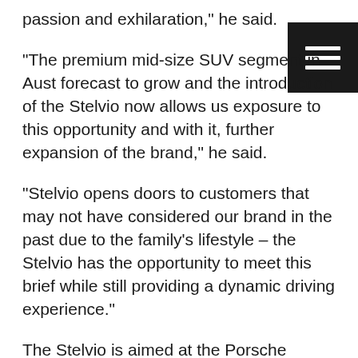passion and exhilaration," he said.
“The premium mid-size SUV segment in Aust… forecast to grow and the introduction of the Stelvio now allows us exposure to this opportunity and with it, further expansion of the brand,” he said.
“Stelvio opens doors to customers that may not have considered our brand in the past due to the family’s lifestyle – the Stelvio has the opportunity to meet this brief while still providing a dynamic driving experience.”
The Stelvio is aimed at the Porsche Macan and even the First Edition variant undercuts the entry-level Macan at $80,110+ORC. The big power and currently the fastest SUV around the Nurburgring,